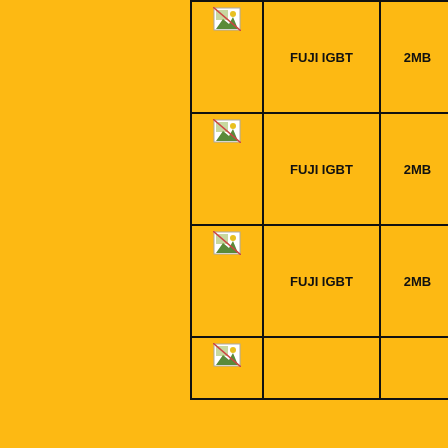| Image | Name | Size |
| --- | --- | --- |
| [image] | FUJI IGBT | 2MB |
| [image] | FUJI IGBT | 2MB |
| [image] | FUJI IGBT | 2MB |
| [image] | FUJI IGBT | 2MB (partial) |